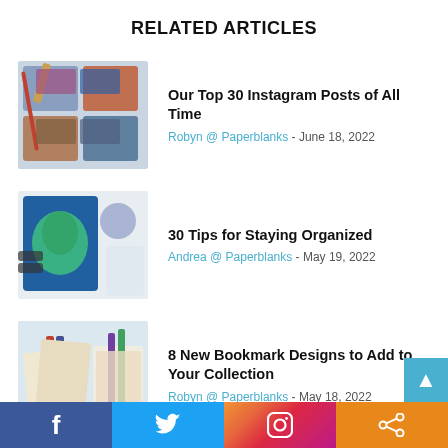RELATED ARTICLES
[Figure (photo): Colorful patterned journals/washi tapes displayed in a decorative box with a pencil on top]
Our Top 30 Instagram Posts of All Time
Robyn @ Paperblanks - June 18, 2022
[Figure (photo): An ornate journal with tree design beside glasses and a pencil on a white background]
30 Tips for Staying Organized
Andrea @ Paperblanks - May 19, 2022
[Figure (photo): Several decorative bookmarks placed inside open books]
8 New Bookmark Designs to Add to Your Collection
Robyn @ Paperblanks - May 18, 2022
Facebook Twitter Instagram Share